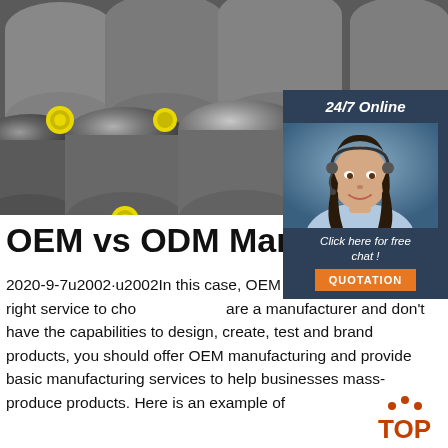[Figure (photo): Photo of steel round bars/rods stacked together, some with yellow circular end markings]
[Figure (photo): 24/7 Online chat widget showing a female customer service agent wearing a headset, with a 'Click here for free chat!' prompt and an orange QUOTATION button]
OEM vs ODM Manufac
2020-9-7u2002·u2002In this case, OEM manufacturing is the right service to choose are a manufacturer and don't have the capabilities to design, create, test and brand products, you should offer OEM manufacturing and provide basic manufacturing services to help businesses mass-produce products. Here is an example of